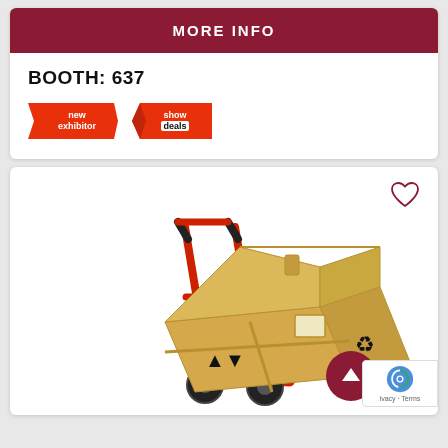MORE INFO
BOOTH: 637
[Figure (infographic): Two badge ribbons: 'new exhibitor' (red/orange diagonal ribbon badge) and 'show deals' (red diagonal ribbon badge)]
[Figure (photo): A cardboard box shaped like a house being transported on a red hand truck/dolly, on a white background. The box has shipping symbols and a recycling icon printed on it. A heart (favorite) icon appears in the top right corner.]